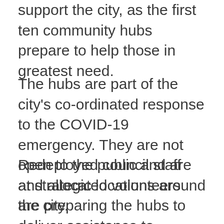support the city, as the first ten community hubs prepare to help those in greatest need.
The hubs are part of the city's co-ordinated response to the COVID-19 emergency. They are not open to the public and are at strategic locations around the city.
Redeployed council staff and allocated volunteers are preparing the hubs to deliver assistance to residents already identified as clinically vulnerable and to others who have no other source of help.